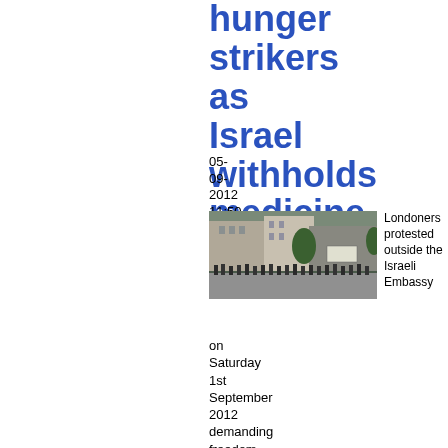hunger strikers as Israel withholds medicine
05-09-2012 11:50
[Figure (photo): Crowd of people protesting outside a large stone building, presumably the Israeli Embassy in London]
Londoners protested outside the Israeli Embassy on Saturday 1st September 2012 demanding freedom for all Palestinian
on Saturday 1st September 2012 demanding freedom for all Palestinian